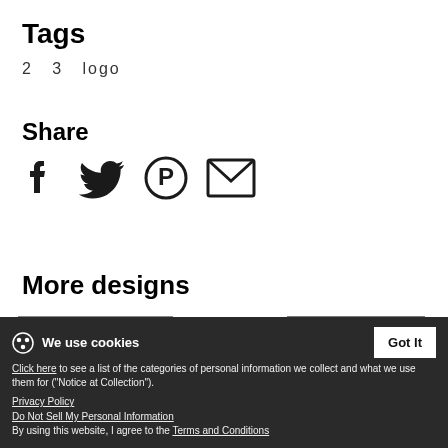Tags
2   3   logo
Share
[Figure (infographic): Four social sharing icons: Facebook (f), Twitter (bird), Pinterest (P circle), Email (envelope)]
More designs
[Figure (photo): Thumbnail of MarkV tank design]
[Figure (photo): Thumbnail of keep calm count rivets design with crown icon and text KEEP CALM AND COUNT RIVETS]
keep calm count rivets png
We use cookies
Click here to see a list of the categories of personal information we collect and what we use them for ("Notice at Collection").
Privacy Policy
Do Not Sell My Personal Information
By using this website, I agree to the Terms and Conditions